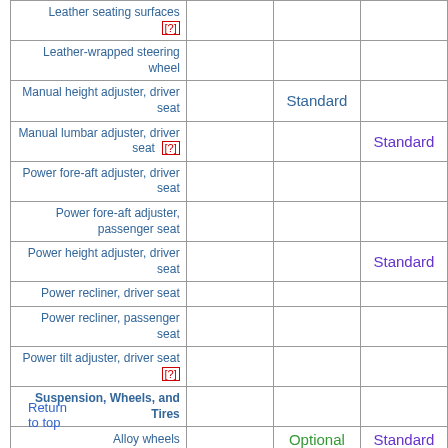| Feature |  |  |  |
| --- | --- | --- | --- |
| Leather seating surfaces [?] |  |  |  |
| Leather-wrapped steering wheel |  |  |  |
| Manual height adjuster, driver seat |  | Standard |  |
| Manual lumbar adjuster, driver seat [?] |  |  | Standard |
| Power fore-aft adjuster, driver seat |  |  |  |
| Power fore-aft adjuster, passenger seat |  |  |  |
| Power height adjuster, driver seat |  |  | Standard |
| Power recliner, driver seat |  |  |  |
| Power recliner, passenger seat |  |  |  |
| Power tilt adjuster, driver seat [?] |  |  |  |
| Suspension, Wheels, and Tires |  |  |  |
| Alloy wheels |  | Optional | Standard |
Return to top